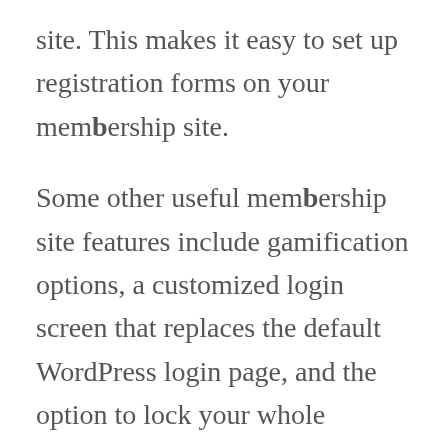site. This makes it easy to set up registration forms on your membership site.
Some other useful membership site features include gamification options, a customized login screen that replaces the default WordPress login page, and the option to lock your whole website using password protection. This is a great way to encourage visitors to